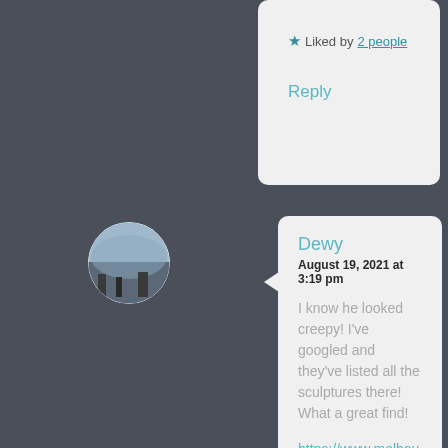★ Liked by 2 people
Reply
[Figure (photo): Circular avatar image showing a landscape with sky and silhouette]
Dewy
August 19, 2021 at 3:19 pm
I know he looked creepy! I've googled and they've listed all the sculptures there! What a great find!
https://www.melbourneplaygrounds.com victoria-gardens-central-melbourne#.YR3plCQmKEc
★ Liked by 2 people
Reply